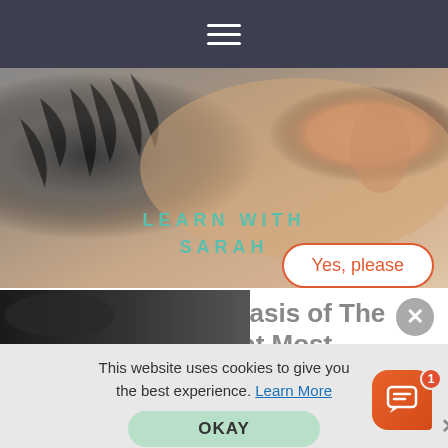Navigation bar with hamburger menu
[Figure (photo): Close-up photo of the back of a person's head/neck showing scalp. Text overlay reads 'LEARN WITH SARAH' in teal letters.]
What Causes Psoriasis of The Scalp? It's Not What Most People Think
Psoriasis | Search Ads
Heya Photographer! Would you like to connect with our team right now?
Yes, please
[Figure (photo): Partial second article image showing dark hair/scalp.]
This website uses cookies to give you the best experience. Learn More
OKAY